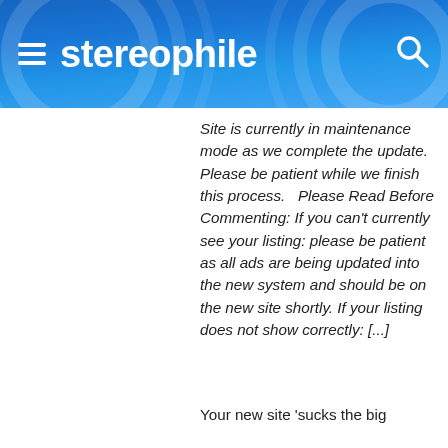stereophile
Site is currently in maintenance mode as we complete the update.  Please be patient while we finish this process.   Please Read Before Commenting: If you can't currently see your listing: please be patient as all ads are being updated into the new system and should be on the new site shortly. If your listing does not show correctly: [...]
Your new site 'sucks the big